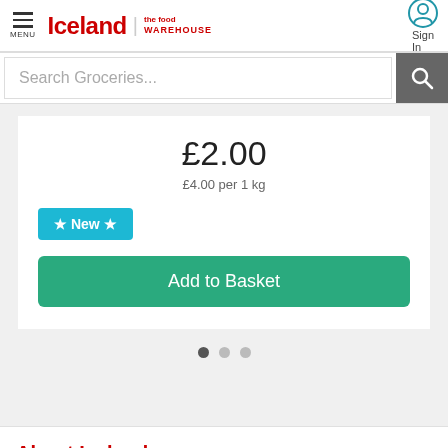Iceland | the food WAREHOUSE — MENU | Search Groceries... | Sign In
£2.00
£4.00 per 1 kg
★ New ★
Add to Basket
About Iceland